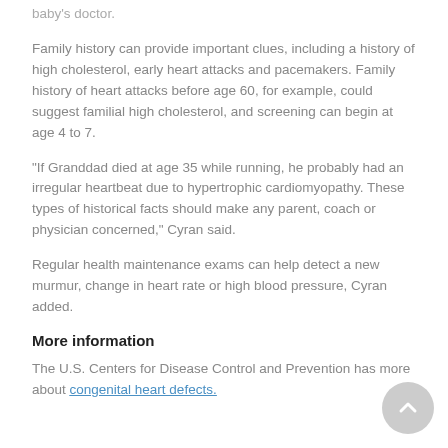baby's doctor.
Family history can provide important clues, including a history of high cholesterol, early heart attacks and pacemakers. Family history of heart attacks before age 60, for example, could suggest familial high cholesterol, and screening can begin at age 4 to 7.
"If Granddad died at age 35 while running, he probably had an irregular heartbeat due to hypertrophic cardiomyopathy. These types of historical facts should make any parent, coach or physician concerned," Cyran said.
Regular health maintenance exams can help detect a new murmur, change in heart rate or high blood pressure, Cyran added.
More information
The U.S. Centers for Disease Control and Prevention has more about congenital heart defects.